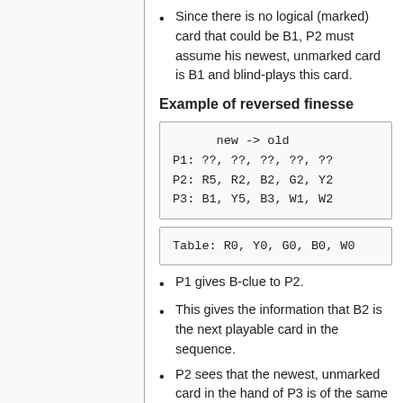Since there is no logical (marked) card that could be B1, P2 must assume his newest, unmarked card is B1 and blind-plays this card.
Example of reversed finesse
[Figure (other): Code block showing card game state: new -> old, P1: ??, ??, ??, ??, ??, P2: R5, R2, B2, G2, Y2, P3: B1, Y5, B3, W1, W2]
[Figure (other): Code block showing table state: Table: R0, Y0, G0, B0, W0]
P1 gives B-clue to P2.
This gives the information that B2 is the next playable card in the sequence.
P2 sees that the newest, unmarked card in the hand of P3 is of the same